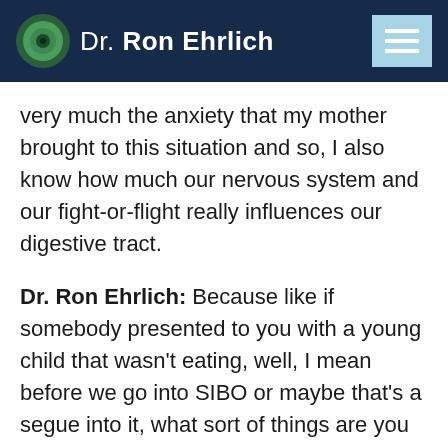Dr. Ron Ehrlich
very much the anxiety that my mother brought to this situation and so, I also know how much our nervous system and our fight-or-flight really influences our digestive tract.
Dr. Ron Ehrlich: Because like if somebody presented to you with a young child that wasn't eating, well, I mean before we go into SIBO or maybe that's a segue into it, what sort of things are you looking for when a mother presents and says my child just won't eat and I've got all these sorts of digestive colleague the story, what sort of